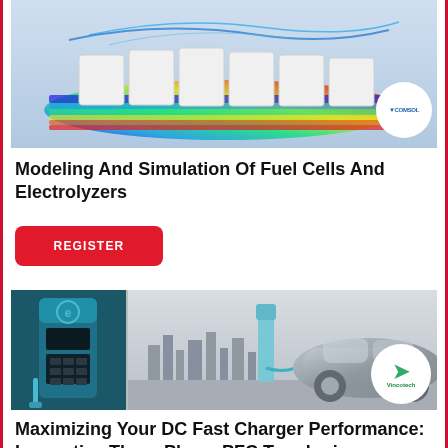[Figure (illustration): 3D CFD simulation visualization of fuel cell or electrolyzer stack showing rainbow-colored heat/flow map over white block components on a gradient background, with a circular company logo overlay in the bottom right corner]
Modeling And Simulation Of Fuel Cells And Electrolyzers
REGISTER
[Figure (photo): Two-panel image: left panel shows a teal/dark blue EV fast charger unit with keypad and screen; right panel shows a grayscale photo of an EV charging station with a car being charged, city skyline in background. Vincotech circular logo in bottom right corner.]
Maximizing Your DC Fast Charger Performance: Innovative Three-Phase PFC Topologies